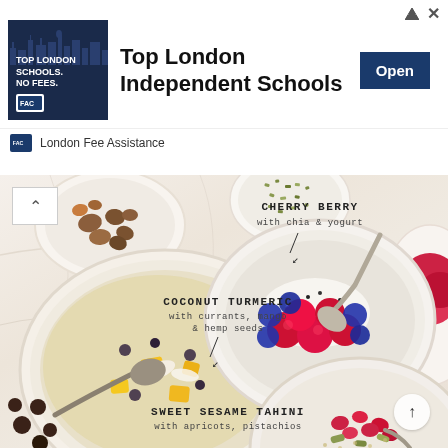[Figure (screenshot): Advertisement banner for Top London Independent Schools with London Fee Assistance logo and Open button]
Top London Independent Schools
London Fee Assistance
[Figure (photo): Overhead food photography showing three bowls of oatmeal/porridge on marble surface: Cherry Berry with chia & yogurt (top right), Coconut Turmeric with currants, mango & hemp seeds (center left), Sweet Sesame Tahini with apricots, pistachios (bottom center). Small bowls of toppings visible including nuts, seeds, berries.]